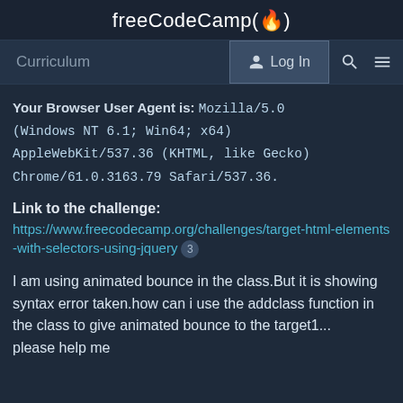freeCodeCamp(🔥)
Curriculum  Log In  🔍  ☰
Your Browser User Agent is: Mozilla/5.0 (Windows NT 6.1; Win64; x64) AppleWebKit/537.36 (KHTML, like Gecko) Chrome/61.0.3163.79 Safari/537.36.
Link to the challenge:
https://www.freecodecamp.org/challenges/target-html-elements-with-selectors-using-jquery 3
I am using animated bounce in the class.But it is showing syntax error taken.how can i use the addclass function in the class to give animated bounce to the target1...
please help me